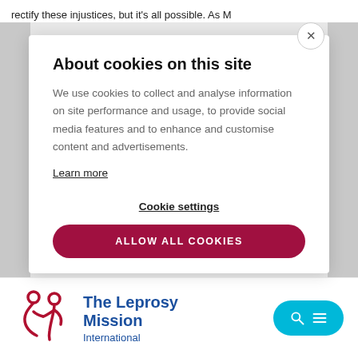rectify these injustices, but it's all possible. As M
About cookies on this site
We use cookies to collect and analyse information on site performance and usage, to provide social media features and to enhance and customise content and advertisements.
Learn more
Cookie settings
ALLOW ALL COOKIES
[Figure (logo): The Leprosy Mission International logo — red figure icon with organization name in blue text]